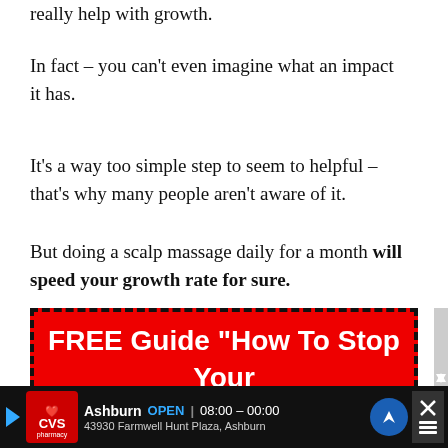really help with growth.
In fact – you can't even imagine what an impact it has.
It's a way too simple step to seem to helpful – that's why many people aren't aware of it.
But doing a scalp massage daily for a month will speed your growth rate for sure.
[Figure (infographic): Red banner advertisement with dashed black border promoting a FREE Guide 'How To Stop Your Hair Loss (In 5 Steps)']
[Figure (infographic): CVS Pharmacy advertisement banner at bottom showing Ashburn store OPEN 08:00-00:00 at 43930 Farmwell Hunt Plaza, Ashburn]